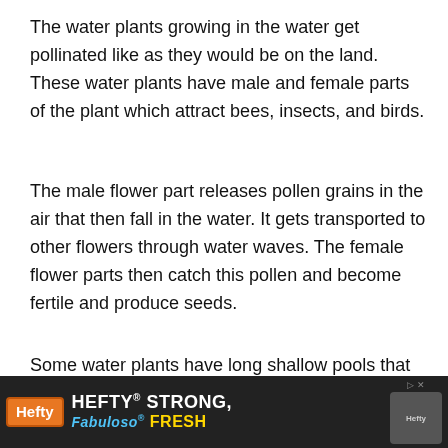The water plants growing in the water get pollinated like as they would be on the land. These water plants have male and female parts of the plant which attract bees, insects, and birds.
The male flower part releases pollen grains in the air that then fall in the water. It gets transported to other flowers through water waves. The female flower parts then catch this pollen and become fertile and produce seeds.
Some water plants have long shallow pools that grow and get attached to the female flowers. Most invasive seaweeds get pollinated through water and grow very [fast/large]...
[Figure (other): Advertisement banner for Hefty and Fabuloso products: 'HEFTY STRONG, FABULOSO FRESH']